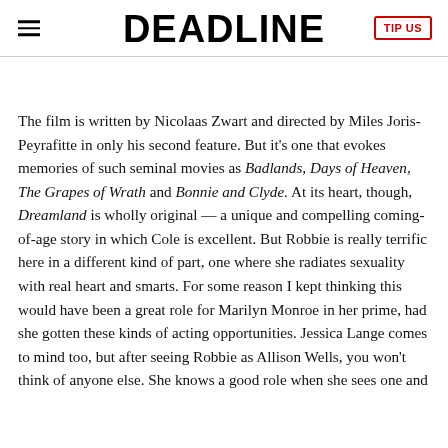DEADLINE
The film is written by Nicolaas Zwart and directed by Miles Joris-Peyrafitte in only his second feature. But it's one that evokes memories of such seminal movies as Badlands, Days of Heaven, The Grapes of Wrath and Bonnie and Clyde. At its heart, though, Dreamland is wholly original — a unique and compelling coming-of-age story in which Cole is excellent. But Robbie is really terrific here in a different kind of part, one where she radiates sexuality with real heart and smarts. For some reason I kept thinking this would have been a great role for Marilyn Monroe in her prime, had she gotten these kinds of acting opportunities. Jessica Lange comes to mind too, but after seeing Robbie as Allison Wells, you won't think of anyone else. She knows a good role when she sees one and